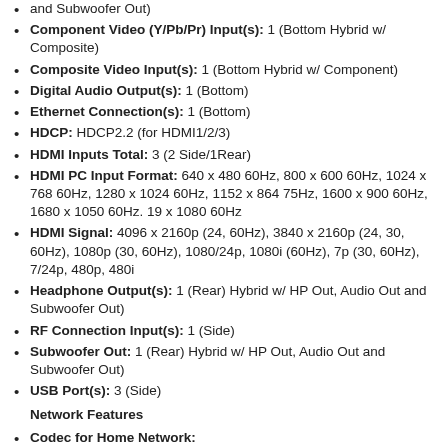and Subwoofer Out)
Component Video (Y/Pb/Pr) Input(s): 1 (Bottom Hybrid w/ Composite)
Composite Video Input(s): 1 (Bottom Hybrid w/ Component)
Digital Audio Output(s): 1 (Bottom)
Ethernet Connection(s): 1 (Bottom)
HDCP: HDCP2.2 (for HDMI1/2/3)
HDMI Inputs Total: 3 (2 Side/1Rear)
HDMI PC Input Format: 640 x 480 60Hz, 800 x 600 60Hz, 1024 x 768 60Hz, 1280 x 1024 60Hz, 1152 x 864 75Hz, 1600 x 900 60Hz, 1680 x 1050 60Hz. 19 x 1080 60Hz
HDMI Signal: 4096 x 2160p (24, 60Hz), 3840 x 2160p (24, 30, 60Hz), 1080p (30, 60Hz), 1080/24p, 1080i (60Hz), 7p (30, 60Hz), 7/24p, 480p, 480i
Headphone Output(s): 1 (Rear) Hybrid w/ HP Out, Audio Out and Subwoofer Out)
RF Connection Input(s): 1 (Side)
Subwoofer Out: 1 (Rear) Hybrid w/ HP Out, Audio Out and Subwoofer Out)
USB Port(s): 3 (Side)
Network Features
Codec for Home Network: